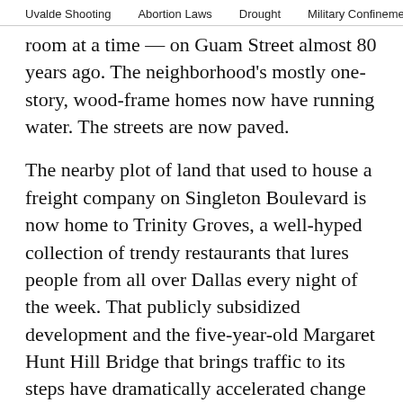Uvalde Shooting   Abortion Laws   Drought   Military Confinement
room at a time — on Guam Street almost 80 years ago. The neighborhood's mostly one-story, wood-frame homes now have running water. The streets are now paved.
The nearby plot of land that used to house a freight company on Singleton Boulevard is now home to Trinity Groves, a well-hyped collection of trendy restaurants that lures people from all over Dallas every night of the week. That publicly subsidized development and the five-year-old Margaret Hunt Hill Bridge that brings traffic to its steps have dramatically accelerated change in this poor, mostly minority neighborhood.
And Hernandez expects he'll soon be getting the property tax bill to prove it.
The Dallas Central Appraisal District has already